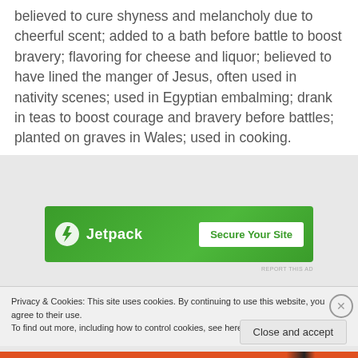believed to cure shyness and melancholy due to cheerful scent; added to a bath before battle to boost bravery; flavoring for cheese and liquor; believed to have lined the manger of Jesus, often used in nativity scenes; used in Egyptian embalming; drank in teas to boost courage and bravery before battles; planted on graves in Wales; used in cooking.
[Figure (screenshot): Jetpack advertisement banner with green background, Jetpack logo with lightning bolt icon on left, and 'Secure Your Site' button on right]
[Figure (photo): Partial photo of pink flowers and greenery, partially obscured]
Privacy & Cookies: This site uses cookies. By continuing to use this website, you agree to their use.
To find out more, including how to control cookies, see here: Cookie Policy
Close and accept